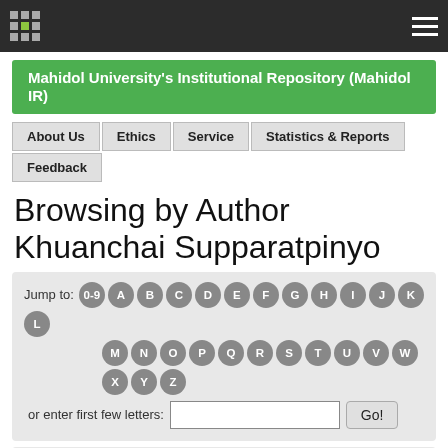Mahidol University's Institutional Repository (Mahidol IR)
Browsing by Author Khuanchai Supparatpinyo
[Figure (screenshot): Jump to alphabet navigation with letter buttons 0-9, A-Z and text input with Go! button]
[Figure (screenshot): Sort by title dropdown, In order Ascending dropdown, Results/Page 20 dropdown, Authors/Record All dropdown, and Update button]